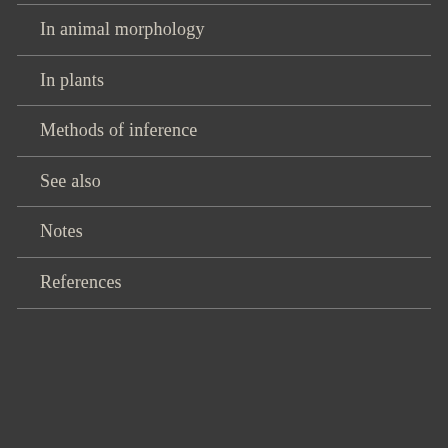In animal morphology
In plants
Methods of inference
See also
Notes
References